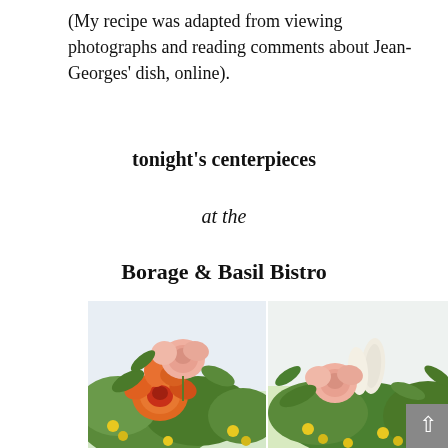(My recipe was adapted from viewing photographs and reading comments about Jean-Georges’ dish, online).
tonight’s centerpieces
at the
Borage & Basil Bistro
[Figure (photo): Two photographs of flower centerpiece arrangements side by side, featuring pink and orange roses with yellow flowers and green foliage]